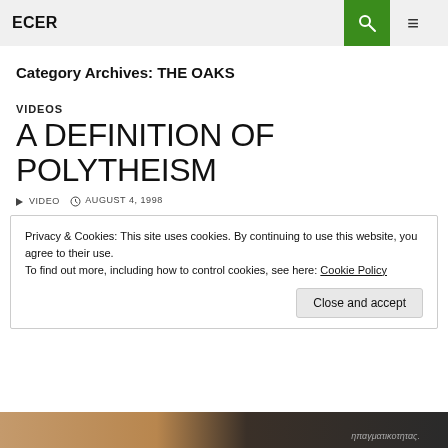ECER
Category Archives: THE OAKS
VIDEOS
A DEFINITION OF POLYTHEISM
▶ VIDEO   🕐 AUGUST 4, 1998
Privacy & Cookies: This site uses cookies. By continuing to use this website, you agree to their use.
To find out more, including how to control cookies, see here: Cookie Policy
Close and accept